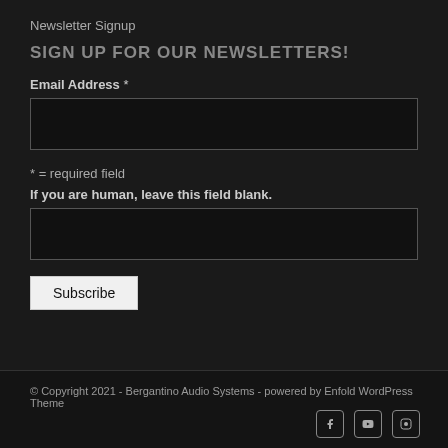Newsletter Signup
SIGN UP FOR OUR NEWSLETTERS!
Email Address *
* = required field
If you are human, leave this field blank.
Subscribe
© Copyright 2021 - Bergantino Audio Systems - powered by Enfold WordPress Theme